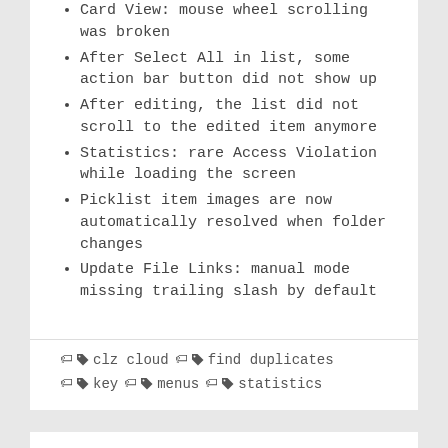Card View: mouse wheel scrolling was broken
After Select All in list, some action bar button did not show up
After editing, the list did not scroll to the edited item anymore
Statistics: rare Access Violation while loading the screen
Picklist item images are now automatically resolved when folder changes
Update File Links: manual mode missing trailing slash by default
clz cloud  find duplicates  key  menus  statistics
Comic Collector (Windows)
v21.0: Add by Issue, Update Values report and a new Missing Comics tool!